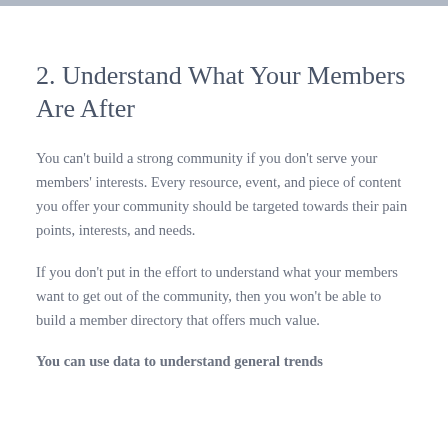2. Understand What Your Members Are After
You can't build a strong community if you don't serve your members' interests. Every resource, event, and piece of content you offer your community should be targeted towards their pain points, interests, and needs.
If you don't put in the effort to understand what your members want to get out of the community, then you won't be able to build a member directory that offers much value.
You can use data to understand general trends